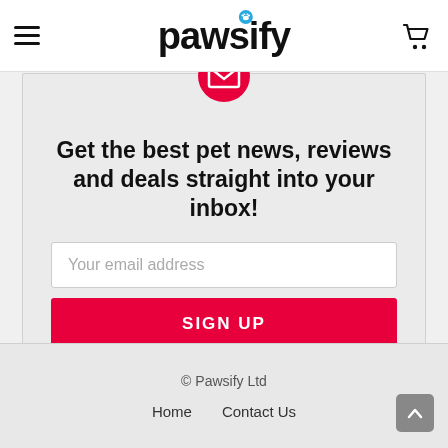pawsify
Get the best pet news, reviews and deals straight into your inbox!
Your email address
SIGN UP
Don't worry, we don't spam
© Pawsify Ltd  Home  Contact Us